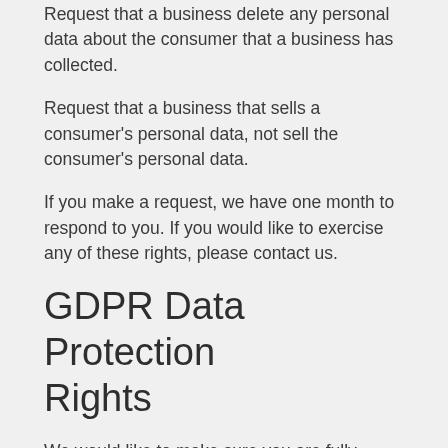Request that a business delete any personal data about the consumer that a business has collected.
Request that a business that sells a consumer's personal data, not sell the consumer's personal data.
If you make a request, we have one month to respond to you. If you would like to exercise any of these rights, please contact us.
GDPR Data Protection Rights
We would like to make sure you are fully aware of all of your data protection rights. Every user is entitled to the following:
The right to access – You have the right to request copies of your personal data. We may charge you a small fee for this service.